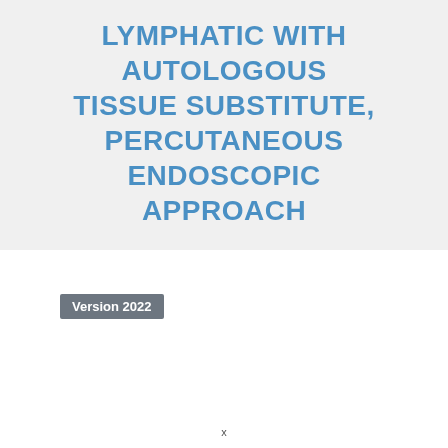LYMPHATIC WITH AUTOLOGOUS TISSUE SUBSTITUTE, PERCUTANEOUS ENDOSCOPIC APPROACH
Version 2022